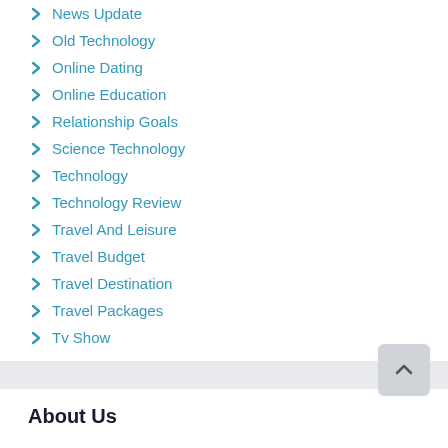News Update
Old Technology
Online Dating
Online Education
Relationship Goals
Science Technology
Technology
Technology Review
Travel And Leisure
Travel Budget
Travel Destination
Travel Packages
Tv Show
About Us
Contact Us
Advertise Here
Disclosure Policy
Sitemap